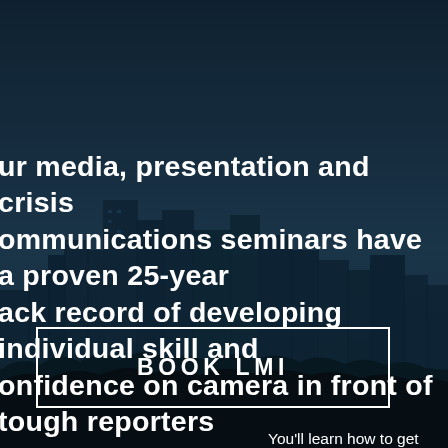[Figure (photo): Dark-tinted city skyline photograph with tall buildings and trees, overlaid with dark blue-teal color, used as full-page background]
ur media, presentation and crisis communications seminars have a proven 25-year ack record of developing individual skill and onfidence on camera in front of tough reporters r with stakeholders.
You'll learn how to get don't. We'll show you v trust. Participants in c the best on the job pe ever received.
BOOK LMI